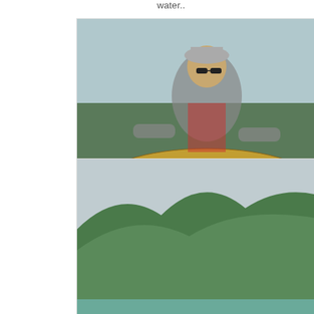water..
hitting the scale at 6lbs.
Pu
[Figure (photo): Man holding a large brown trout near water, wearing sunglasses and a red vest]
..we had a 10 fish day! Fabulous fish!
[Figure (photo): Man holding a silver/sea trout at night, smiling at camera]
I had 2 kahawai and Robbie had two of these beauties on dark!
[Figure (photo): Partially visible fishing photo on right edge]
Th pi
[Figure (photo): Scenic backcountry river with green forested hills]
Some backcountry fishing!
[Figure (photo): Man kneeling by river holding a large brown trout, forested hills in background]
Plenty wee rainbows and this beauty!
[Figure (photo): Partially visible fishing photo on right edge]
ex